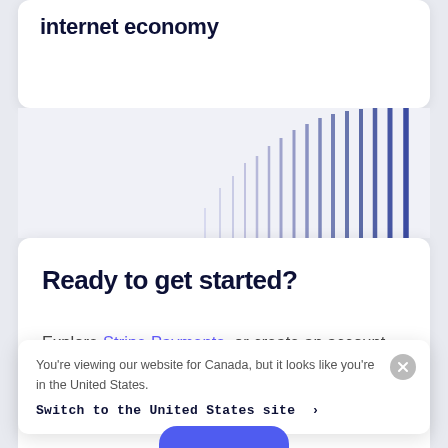internet economy
[Figure (other): Decorative bar chart visualization with vertical purple gradient lines on a light gray background, partially visible]
Ready to get started?
Explore Stripe Payments, or create an account instantly and start accepting
You're viewing our website for Canada, but it looks like you're in the United States.
Switch to the United States site >